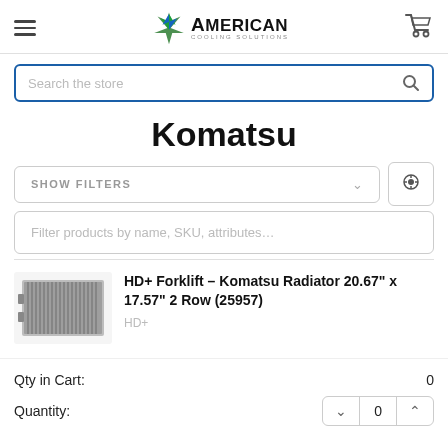[Figure (logo): American Cooling Solutions logo with green and blue star and bold text]
Search the store
Komatsu
SHOW FILTERS
Filter products by name, SKU, attributes...
[Figure (photo): HD+ Forklift Komatsu Radiator product photo]
HD+ Forklift – Komatsu Radiator 20.67" x 17.57" 2 Row (25957)
HD+
Qty in Cart:
0
Quantity:
0